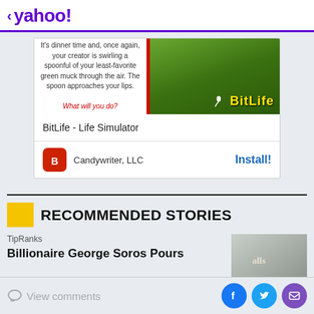< yahoo!
[Figure (screenshot): BitLife - Life Simulator app advertisement card showing game text and green leaf background with BitLife logo]
BitLife - Life Simulator
Candywriter, LLC   Install!
RECOMMENDED STORIES
TipRanks
Billionaire George Soros Pours
View comments